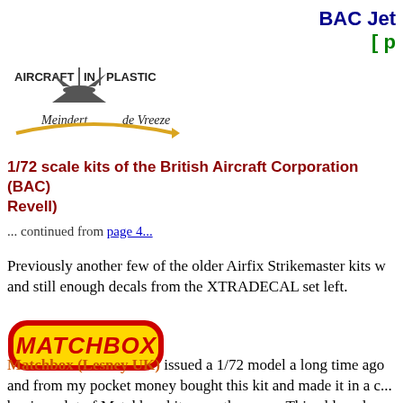BAC Jet [ ...
[Figure (logo): Aircraft in Plastic logo with Meindert de Vreeze branding, showing an aircraft silhouette and yellow arrow swoosh]
1/72 scale kits of the British Aircraft Corporation (BAC) Revell)
... continued from page 4...
Previously another few of the older Airfix Strikemaster kits w... and still enough decals from the XTRADECAL set left.
[Figure (logo): Matchbox logo — red text on yellow rounded rectangle with red border]
Matchbox (Lesney UK) issued a 1/72 model a long time ago and from my pocket money bought this kit and made it in a c... buying a lot of Matchbox kits over the years. This old made m... obtained several kits in later years. (Revell re-released it mar...